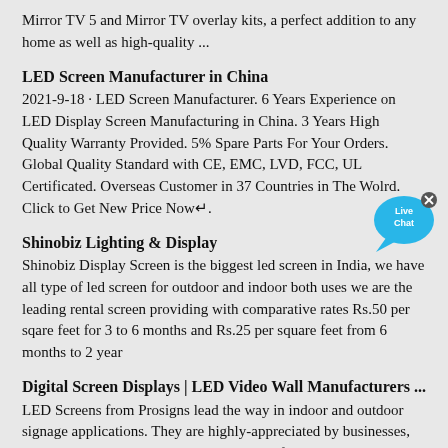Mirror TV 5 and Mirror TV overlay kits, a perfect addition to any home as well as high-quality ...
LED Screen Manufacturer in China
2021-9-18 · LED Screen Manufacturer. 6 Years Experience on LED Display Screen Manufacturing in China. 3 Years High Quality Warranty Provided. 5% Spare Parts For Your Orders. Global Quality Standard with CE, EMC, LVD, FCC, UL Certificated. Overseas Customer in 37 Countries in The Wolrd. Click to Get New Price Now↵.
Shinobiz Lighting & Display
Shinobiz Display Screen is the biggest led screen in India, we have all type of led screen for outdoor and indoor both uses we are the leading rental screen providing with comparative rates Rs.50 per sqare feet for 3 to 6 months and Rs.25 per square feet from 6 months to 2 year
Digital Screen Displays | LED Video Wall Manufacturers ...
LED Screens from Prosigns lead the way in indoor and outdoor signage applications. They are highly-appreciated by businesses, marketers and event planners across Qatar for their endless possibilities. Whether it is a text scroll, video playback or live streaming of a stage show, our LED/LCD displays make it a visual treat for the viewers.